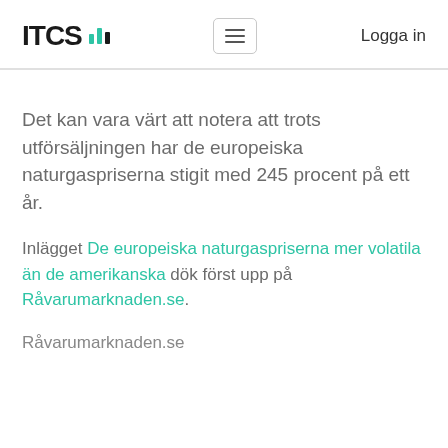[Figure (logo): ITCS logo with teal bar chart icon]
Det kan vara värt att notera att trots utförsäljningen har de europeiska naturgaspriserna stigit med 245 procent på ett år.
Inlägget De europeiska naturgaspriserna mer volatila än de amerikanska dök först upp på Råvarumarknaden.se.
Råvarumarknaden.se